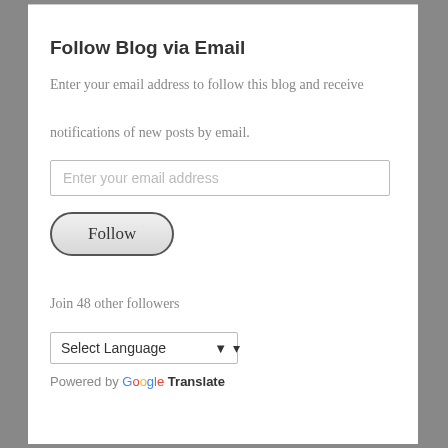Follow Blog via Email
Enter your email address to follow this blog and receive notifications of new posts by email.
Enter your email address
Follow
Join 48 other followers
Select Language
Powered by Google Translate